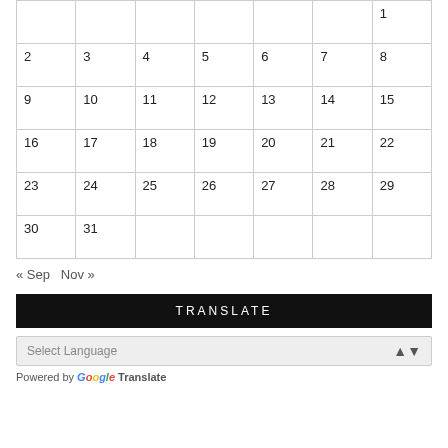|  |  |  |  |  |  | 1 |
| 2 | 3 | 4 | 5 | 6 | 7 | 8 |
| 9 | 10 | 11 | 12 | 13 | 14 | 15 |
| 16 | 17 | 18 | 19 | 20 | 21 | 22 |
| 23 | 24 | 25 | 26 | 27 | 28 | 29 |
| 30 | 31 |  |  |  |  |  |
« Sep  Nov »
TRANSLATE
Select Language
Powered by Google Translate